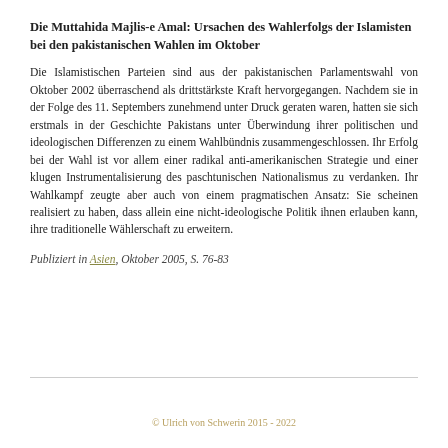Die Muttahida Majlis-e Amal: Ursachen des Wahlerfolgs der Islamisten bei den pakistanischen Wahlen im Oktober
Die Islamistischen Parteien sind aus der pakistanischen Parlamentswahl von Oktober 2002 überraschend als drittstärkste Kraft hervorgegangen. Nachdem sie in der Folge des 11. Septembers zunehmend unter Druck geraten waren, hatten sie sich erstmals in der Geschichte Pakistans unter Überwindung ihrer politischen und ideologischen Differenzen zu einem Wahlbündnis zusammengeschlossen. Ihr Erfolg bei der Wahl ist vor allem einer radikal anti-amerikanischen Strategie und einer klugen Instrumentalisierung des paschtunischen Nationalismus zu verdanken. Ihr Wahlkampf zeugte aber auch von einem pragmatischen Ansatz: Sie scheinen realisiert zu haben, dass allein eine nicht-ideologische Politik ihnen erlauben kann, ihre traditionelle Wählerschaft zu erweitern.
Publiziert in Asien, Oktober 2005, S. 76-83
© Ulrich von Schwerin 2015 - 2022